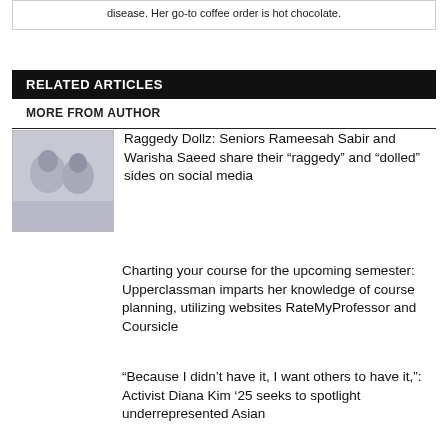disease. Her go-to coffee order is hot chocolate.
RELATED ARTICLES
MORE FROM AUTHOR
[Figure (photo): Thumbnail image for Raggedy Dollz article showing two people]
Raggedy Dollz: Seniors Rameesah Sabir and Warisha Saeed share their “raggedy” and “dolled” sides on social media
Charting your course for the upcoming semester: Upperclassman imparts her knowledge of course planning, utilizing websites RateMyProfessor and Coursicle
“Because I didn’t have it, I want others to have it,”: Activist Diana Kim ’25 seeks to spotlight underrepresented Asian